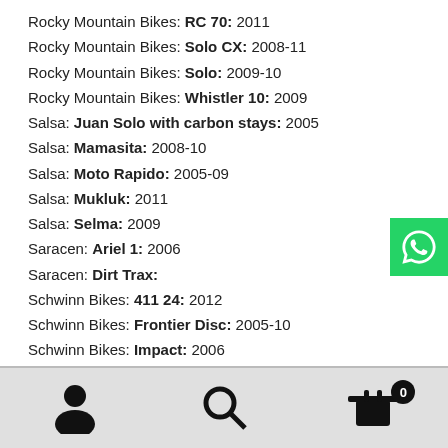Rocky Mountain Bikes: RC 70: 2011
Rocky Mountain Bikes: Solo CX: 2008-11
Rocky Mountain Bikes: Solo: 2009-10
Rocky Mountain Bikes: Whistler 10: 2009
Salsa: Juan Solo with carbon stays: 2005
Salsa: Mamasita: 2008-10
Salsa: Moto Rapido: 2005-09
Salsa: Mukluk: 2011
Salsa: Selma: 2009
Saracen: Ariel 1: 2006
Saracen: Dirt Trax:
Schwinn Bikes: 411 24: 2012
Schwinn Bikes: Frontier Disc: 2005-10
Schwinn Bikes: Impact: 2006
User icon, Search icon, Cart with badge 0